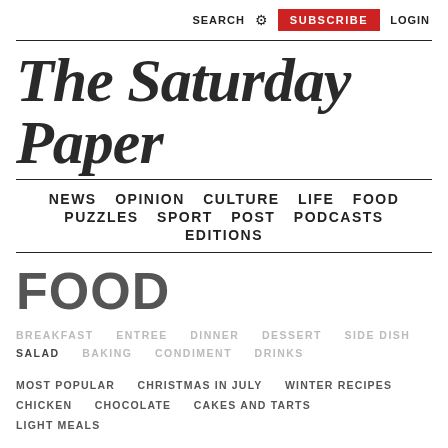SEARCH ⚙ SUBSCRIBE LOGIN
The Saturday Paper
NEWS  OPINION  CULTURE  LIFE  FOOD  PUZZLES  SPORT  POST  PODCASTS  EDITIONS
FOOD
BREAKFAST   ENTREE   DINNER   DESSERT   SIDE DISH   SALAD   BAKING   CONDIMENT   DRINKS
MOST POPULAR   CHRISTMAS IN JULY   WINTER RECIPES   CHICKEN   CHOCOLATE   CAKES AND TARTS   LIGHT MEALS